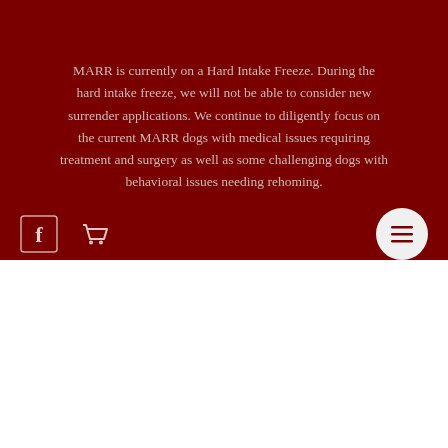MARR is currently on a Hard Intake Freeze. During the hard intake freeze, we will not be able to consider new surrender applications. We continue to diligently focus on the current MARR dogs with medical issues requiring treatment and surgery as well as some challenging dogs with behavioral issues needing rehoming.
[Figure (illustration): Facebook icon (white 'f' on dark red background), shopping cart icon (white outline on dark red), and hamburger menu button (white three-line icon on dark circle, right side)]